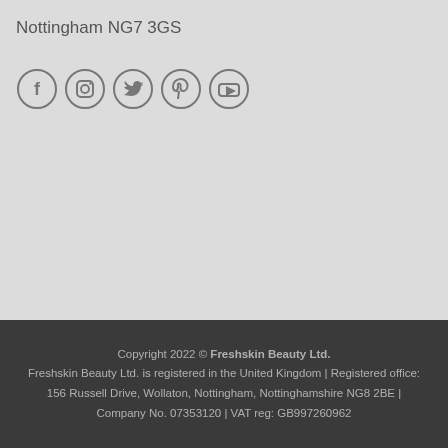Nottingham NG7 3GS
[Figure (illustration): Row of five social media icon circles: Facebook, Instagram, Twitter, Pinterest, YouTube]
Copyright 2022 © Freshskin Beauty Ltd. Freshskin Beauty Ltd. is registered in the United Kingdom | Registered office: 156 Russell Drive, Wollaton, Nottingham, Nottinghamshire NG8 2BE | Company No. 07353120 | VAT reg: GB997260962